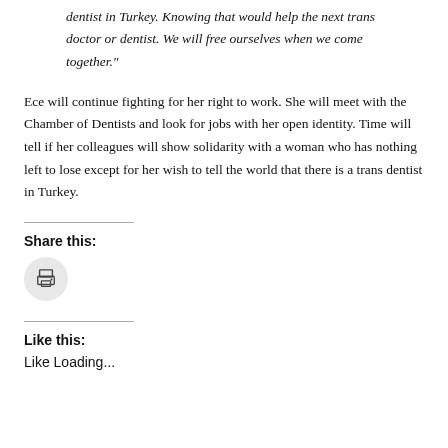dentist in Turkey. Knowing that would help the next trans doctor or dentist. We will free ourselves when we come together."
Ece will continue fighting for her right to work. She will meet with the Chamber of Dentists and look for jobs with her open identity. Time will tell if her colleagues will show solidarity with a woman who has nothing left to lose except for her wish to tell the world that there is a trans dentist in Turkey.
Share this:
[Figure (other): Print button icon — circular grey button with printer icon]
Like this:
Like Loading...